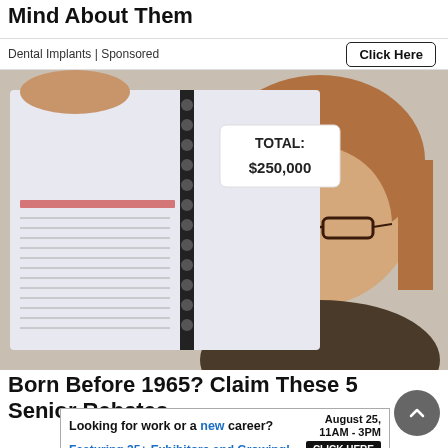Mind About Them
Dental Implants | Sponsored
Click Here
[Figure (photo): A middle-aged woman with glasses holding up a spiral-bound notebook showing a page labeled TOTAL: $250,000 with financial data rows visible.]
Born Before 1965? Claim These 5 Senior Rebates
Looking for work or a new career? August 25, 11AM - 3PM Featuring 25+ Exhibitors and Growing! CLICK HERE